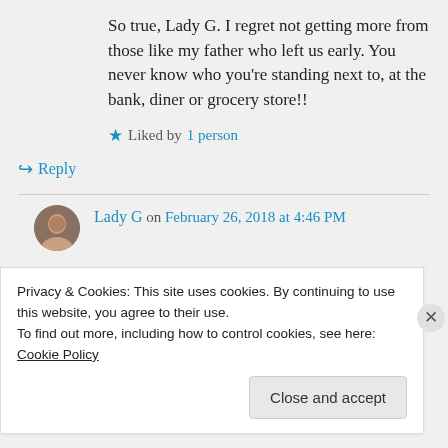So true, Lady G. I regret not getting more from those like my father who left us early. You never know who you're standing next to, at the bank, diner or grocery store!!
Liked by 1 person
↪ Reply
Lady G on February 26, 2018 at 4:46 PM
Privacy & Cookies: This site uses cookies. By continuing to use this website, you agree to their use.
To find out more, including how to control cookies, see here: Cookie Policy